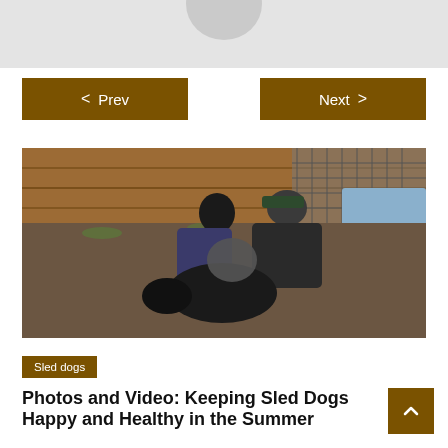[Figure (photo): Gray/white header area with partial circular avatar or logo at top center]
< Prev
Next >
[Figure (photo): Two people crouching down interacting with sled dogs in an outdoor enclosure with wooden fence and chain-link fencing in background]
Sled dogs
Photos and Video: Keeping Sled Dogs Happy and Healthy in the Summer